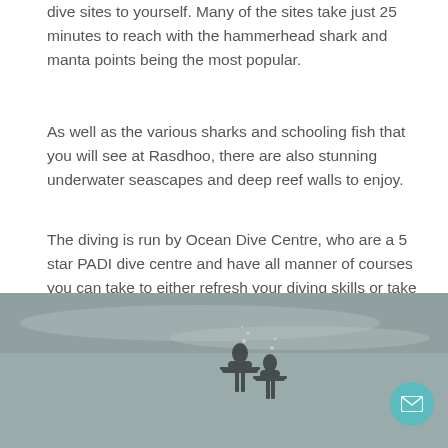dive sites to yourself. Many of the sites take just 25 minutes to reach with the hammerhead shark and manta points being the most popular.
As well as the various sharks and schooling fish that you will see at Rasdhoo, there are also stunning underwater seascapes and deep reef walls to enjoy.
The diving is run by Ocean Dive Centre, who are a 5 star PADI dive centre and have all manner of courses you can take to either refresh your diving skills or take a specialist course. The dive shop also has full equipment rental, boat trips and house reef diving.
[Figure (photo): Underwater or ocean scene photo showing silhouettes of divers, in grayscale/muted teal tones]